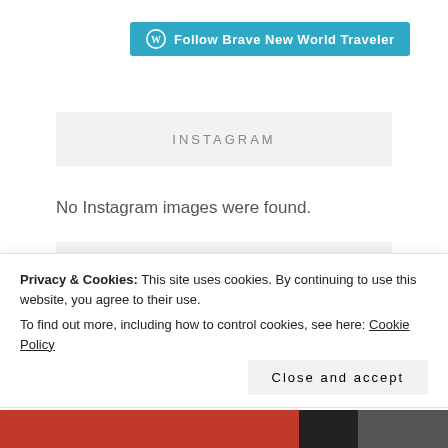[Figure (logo): WordPress Follow button: teal/blue rounded button with WordPress logo and text 'Follow Brave New World Traveler']
INSTAGRAM
No Instagram images were found.
RECENT POSTS
What We're Doing in Hawaii Right Now
Privacy & Cookies: This site uses cookies. By continuing to use this website, you agree to their use.
To find out more, including how to control cookies, see here: Cookie Policy
Close and accept